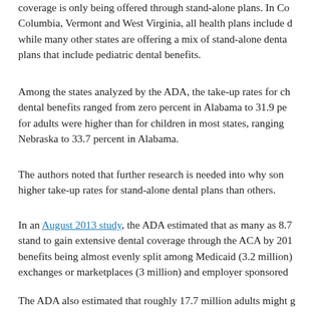coverage is only being offered through stand-alone plans. In Columbia, Vermont and West Virginia, all health plans include dental, while many other states are offering a mix of stand-alone dental plans that include pediatric dental benefits.
Among the states analyzed by the ADA, the take-up rates for children's dental benefits ranged from zero percent in Alabama to 31.9 percent. Rates for adults were higher than for children in most states, ranging from Nebraska to 33.7 percent in Alabama.
The authors noted that further research is needed into why some states have higher take-up rates for stand-alone dental plans than others.
In an August 2013 study, the ADA estimated that as many as 8.7 million children stand to gain extensive dental coverage through the ACA by 2018, with the benefits being almost evenly split among Medicaid (3.2 million), exchanges or marketplaces (3 million) and employer sponsored
The ADA also estimated that roughly 17.7 million adults might g